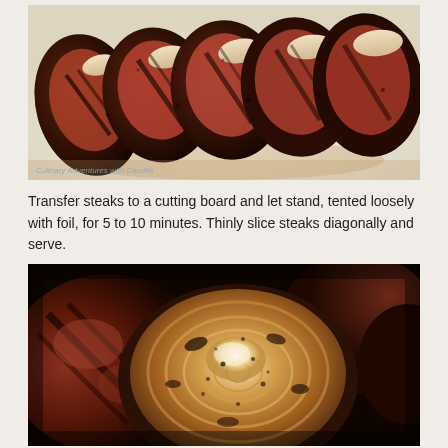[Figure (photo): Close-up photo of sliced grilled steak on a white plate, showing charred exterior and pink interior with grill marks. Watermark reads 'Culinary Adventures with Camilla'.]
Transfer steaks to a cutting board and let stand, tented loosely with foil, for 5 to 10 minutes. Thinly slice steaks diagonally and serve.
[Figure (photo): Close-up photo of a grilled onion half with caramelized char marks alongside grilled meat in the background.]